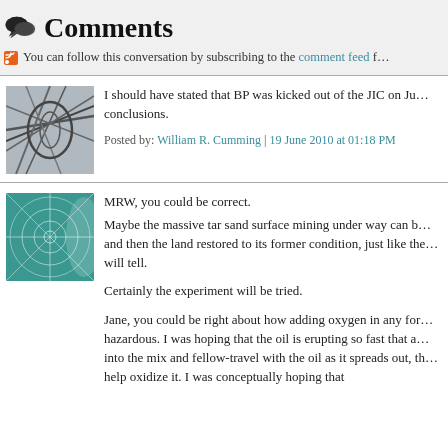Comments
You can follow this conversation by subscribing to the comment feed f…
I should have stated that BP was kicked out of the JIC on Ju… conclusions.
Posted by: William R. Cumming | 19 June 2010 at 01:18 PM
MRW, you could be correct.
Maybe the massive tar sand surface mining under way can b… and then the land restored to its former condition, just like the… will tell.

Certainly the experiment will be tried.

Jane, you could be right about how adding oxygen in any for… hazardous. I was hoping that the oil is erupting so fast that a… into the mix and fellow-travel with the oil as it spreads out, th… help oxidize it. I was conceptually hoping that